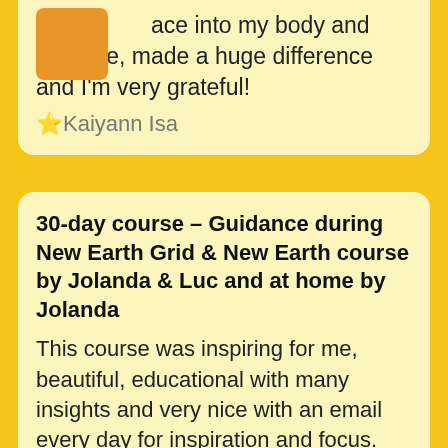m[orange block]ace into my body and daily life, made a huge difference and I'm very grateful!
⭐Kaiyann Isa
30-day course – Guidance during New Earth Grid & New Earth course by Jolanda & Luc and at home by Jolanda
This course was inspiring for me, beautiful, educational with many insights and very nice with an email every day for inspiration and focus. Every now and then it felt like a whirlwind was passing by, but it was 'calmed down' in a skilful, calm way by